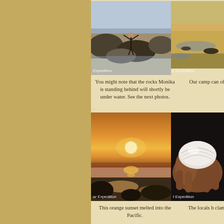[Figure (photo): Person standing on rocks at the beach with arms raised, rocky outcroppings visible, watermark 'Expedition' at bottom left]
[Figure (photo): Beach scene showing sandy shoreline at low tide, partially cut off on right side, watermark 'e Expedition' at bottom left]
You might note that the rocks Monika is standing behind will shortly be under water. See the next photos.
Our camp can of th
[Figure (photo): Orange sunset over the Pacific Ocean with rocky tide pools in the foreground, watermark 'ar Expedition' at bottom left]
[Figure (photo): Close-up of hands holding a large white clam shell, dark background, watermark 't Expedition' at bottom left]
This orange sunset melted into the Pacific.
The locals h clams a